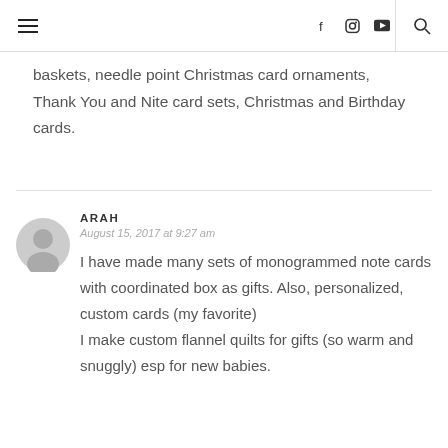Navigation bar with hamburger menu, social icons (Facebook, Instagram, YouTube), and search
baskets, needle point Christmas card ornaments, Thank You and Nite card sets, Christmas and Birthday cards.
[Figure (illustration): Gray circular user avatar icon for commenter ARAH]
ARAH
August 15, 2017 at 9:27 am
I have made many sets of monogrammed note cards with coordinated box as gifts. Also, personalized, custom cards (my favorite)
I make custom flannel quilts for gifts (so warm and snuggly) esp for new babies.